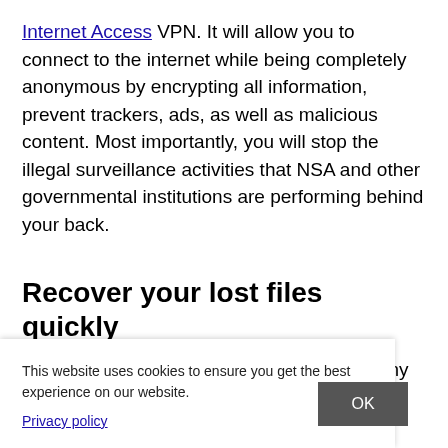Internet Access VPN. It will allow you to connect to the internet while being completely anonymous by encrypting all information, prevent trackers, ads, as well as malicious content. Most importantly, you will stop the illegal surveillance activities that NSA and other governmental institutions are performing behind your back.
Recover your lost files quickly
Unforeseen circumstances can happen at any time while using the computer: it can turn off due to a power cut, a Blue Screen of Death (BSoD) can occur, or random Windows [...]way for a few [...] tant documents, [...] files, you can
This website uses cookies to ensure you get the best experience on our website.
Privacy policy
OK